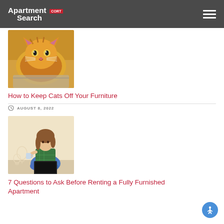Apartment Search CORT
[Figure (photo): Orange tabby cat sitting in a suitcase or luggage, looking at camera]
How to Keep Cats Off Your Furniture
AUGUST 8, 2022
[Figure (photo): Young woman sitting cross-legged on floor against a wall, using a laptop and drinking from a mug, with light bulb illustrations on the wall]
7 Questions to Ask Before Renting a Fully Furnished Apartment